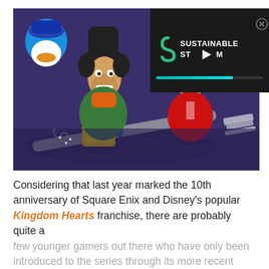[Figure (screenshot): Kingdom Hearts game screenshot showing animated characters (Goofy, Sora, and others) in a dark purple environment with a large Keyblade weapon in the foreground. A video overlay panel in the top-right corner shows 'SUSTAINABLE STEAM' logo with a play button and teal progress bar, and a close (X) button.]
Considering that last year marked the 10th anniversary of Square Enix and Disney's popular Kingdom Hearts franchise, there are probably quite a few younger gamers out there who have only been introduced to the series through its more recent